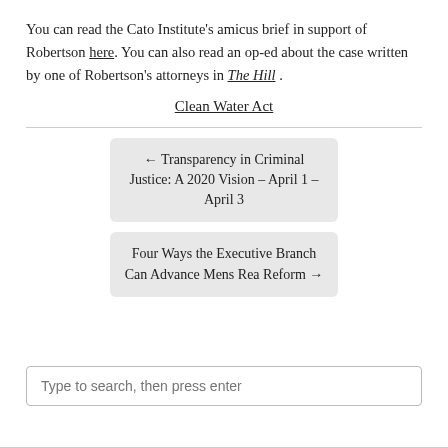You can read the Cato Institute's amicus brief in support of Robertson here. You can also read an op-ed about the case written by one of Robertson's attorneys in The Hill.
Clean Water Act
← Transparency in Criminal Justice: A 2020 Vision – April 1 – April 3
Four Ways the Executive Branch Can Advance Mens Rea Reform →
Type to search, then press enter